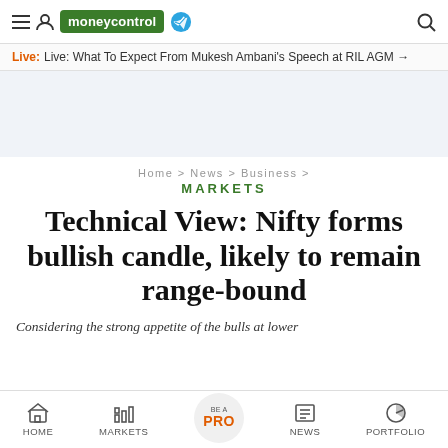moneycontrol
Live: Live: What To Expect From Mukesh Ambani’s Speech at RIL AGM →
Home > News > Business >
MARKETS
Technical View: Nifty forms bullish candle, likely to remain range-bound
Considering the strong appetite of the bulls at lower
HOME | MARKETS | BE A PRO | NEWS | PORTFOLIO